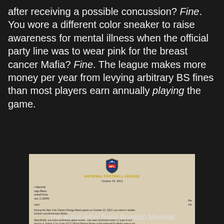after receiving a possible concussion? Fine. You wore a different color sneaker to raise awareness for mental illness when the official party line was to wear pink for the breast cancer Mafia? Fine. The league makes more money per year from levying arbitrary BS fines than most players earn annually playing the game.
[Figure (photo): Photo of an actual NFL letter dated October 15, 2013 fining Brandon Marshall of the Chicago Bears $10,500 for wearing dominantly green shoes during the New York Giants-Chicago Bears game on October 10, 2013, in violation of Uniform and Equipment Rules.]
The actual letter fining Brandon Marshall